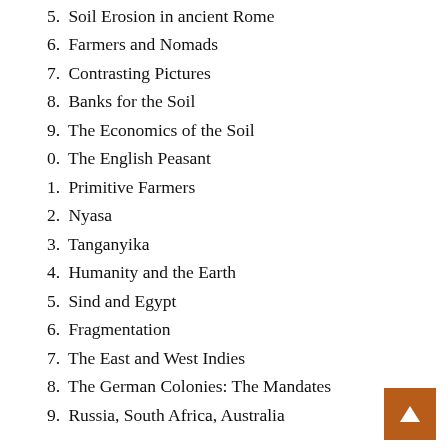5. Soil Erosion in ancient Rome
6. Farmers and Nomads
7. Contrasting Pictures
8. Banks for the Soil
9. The Economics of the Soil
0. The English Peasant
1. Primitive Farmers
2. Nyasa
3. Tanganyika
4. Humanity and the Earth
5. Sind and Egypt
6. Fragmentation
7. The East and West Indies
8. The German Colonies: The Mandates
9. Russia, South Africa, Australia